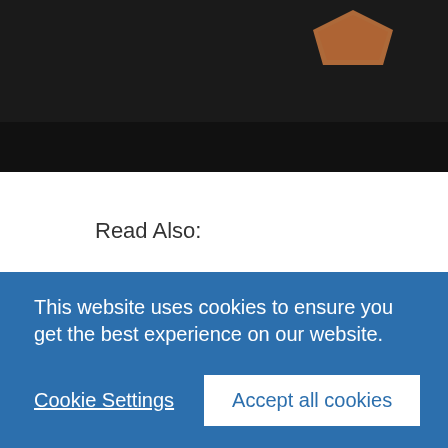[Figure (photo): Dark image with orange geometric shape visible at top right, black bar at bottom]
Read Also:
Madden 21: The TOTW Week 1 Challenge
This is a task that can be done by visiting the official pre-order page https://www.ea.com/.
Once we have selected, we are allowed to
This website uses cookies to ensure you get the best experience on our website.
Cookie Settings  Accept all cookies